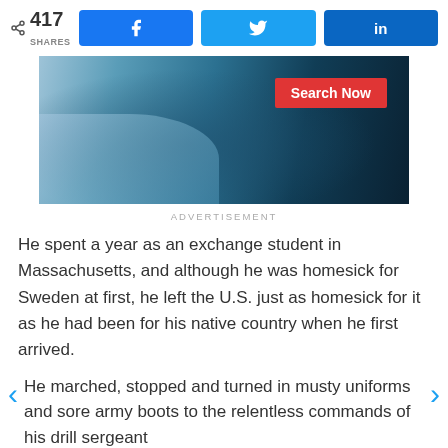417 SHARES | Facebook | Twitter | LinkedIn
[Figure (photo): Medical professional reviewing an X-ray image, with a 'Search Now' badge overlay in red]
ADVERTISEMENT
He spent a year as an exchange student in Massachusetts, and although he was homesick for Sweden at first, he left the U.S. just as homesick for it as he had been for his native country when he first arrived.
He marched, stopped and turned in musty uniforms and sore army boots to the relentless commands of his drill sergeant
✓  Join 150,000+ subscribers
✓  Get KevinMD's most popular stories
Email  |  Subscribe. It's free.